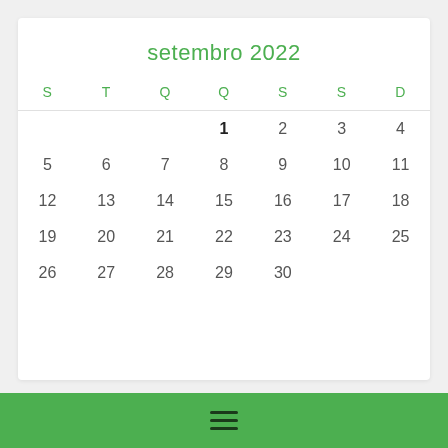setembro 2022
| S | T | Q | Q | S | S | D |
| --- | --- | --- | --- | --- | --- | --- |
|  |  |  | 1 | 2 | 3 | 4 |
| 5 | 6 | 7 | 8 | 9 | 10 | 11 |
| 12 | 13 | 14 | 15 | 16 | 17 | 18 |
| 19 | 20 | 21 | 22 | 23 | 24 | 25 |
| 26 | 27 | 28 | 29 | 30 |  |  |